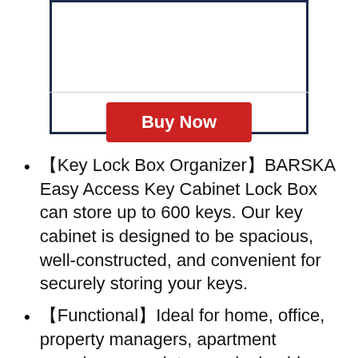[Figure (other): Product image box with blue border and a red Buy Now button]
【Key Lock Box Organizer】BARSKA Easy Access Key Cabinet Lock Box can store up to 600 keys. Our key cabinet is designed to be spacious, well-constructed, and convenient for securely storing your keys.
【Functional】Ideal for home, office, property managers, apartment complexes, car lots, car dealerships, repair shops, and many more.
【Organized Storage】Barska Key...